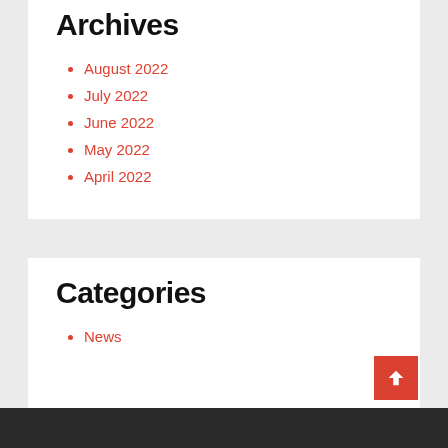Archives
August 2022
July 2022
June 2022
May 2022
April 2022
Categories
News